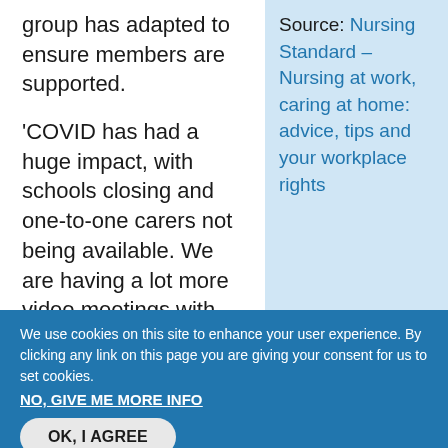group has adapted to ensure members are supported.
'COVID has had a huge impact, with schools closing and one-to-one carers not being available. We are having a lot more video meetings with staff members who are really struggling at home.'
Source: Nursing Standard – Nursing at work, caring at home: advice, tips and your workplace rights
We use cookies on this site to enhance your user experience. By clicking any link on this page you are giving your consent for us to set cookies.
NO, GIVE ME MORE INFO
OK, I AGREE